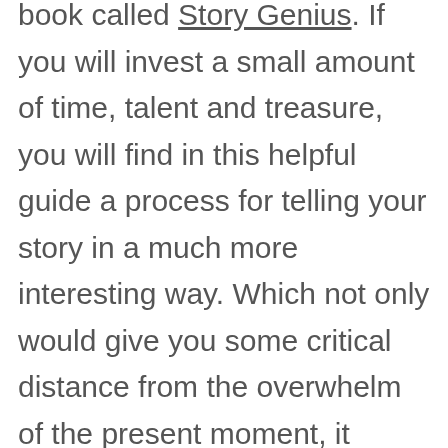book called Story Genius. If you will invest a small amount of time, talent and treasure, you will find in this helpful guide a process for telling your story in a much more interesting way. Which not only would give you some critical distance from the overwhelm of the present moment, it would also help you get a sense of what's coming next.
Here we go...